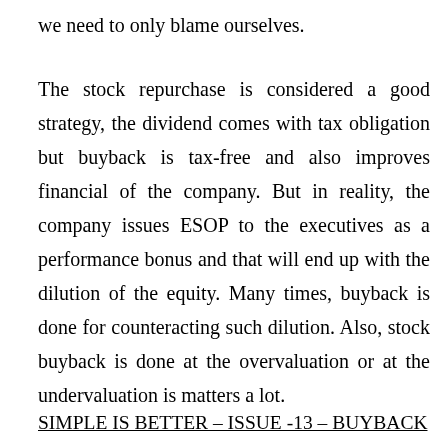we need to only blame ourselves.
The stock repurchase is considered a good strategy, the dividend comes with tax obligation but buyback is tax-free and also improves financial of the company. But in reality, the company issues ESOP to the executives as a performance bonus and that will end up with the dilution of the equity. Many times, buyback is done for counteracting such dilution. Also, stock buyback is done at the overvaluation or at the undervaluation is matters a lot.
SIMPLE IS BETTER – ISSUE -13 – BUYBACK